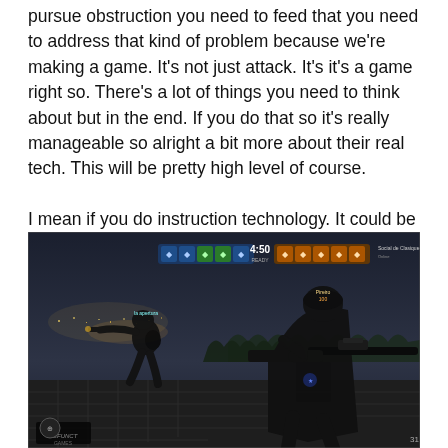pursue obstruction you need to feed that you need to address that kind of problem because we're making a game. It's not just attack. It's it's a game right so. There's a lot of things you need to think about but in the end. If you do that so it's really manageable so alright a bit more about their real tech. This will be pretty high level of course.
I mean if you do instruction technology. It could be super different it could be super similar.
[Figure (screenshot): First-person shooter video game screenshot showing two armed soldiers in tactical gear on a rooftop at night, with a game HUD displaying player icons, a timer showing 4:50, and team information. The Defunct Games logo is visible at the bottom left.]